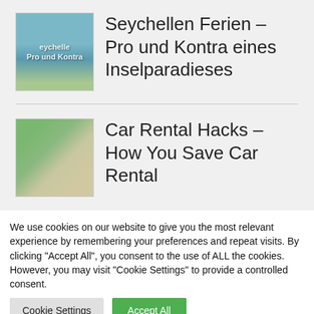[Figure (photo): Thumbnail image of Seychelles with water and text overlay reading 'seychelle Pro und Kontra']
Seychellen Ferien – Pro und Kontra eines Inselparadieses
[Figure (photo): Thumbnail image of a road with a car, representing car rental hacks]
Car Rental Hacks – How You Save Car Rental
We use cookies on our website to give you the most relevant experience by remembering your preferences and repeat visits. By clicking "Accept All", you consent to the use of ALL the cookies. However, you may visit "Cookie Settings" to provide a controlled consent.
Cookie Settings
Accept All